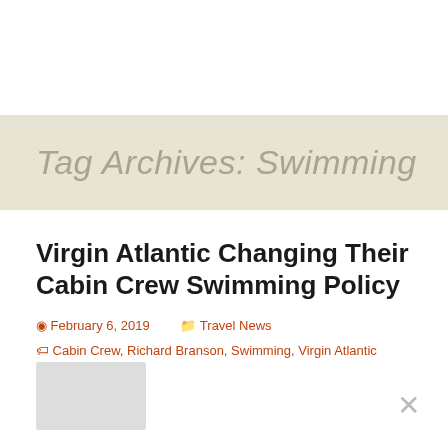Tag Archives: Swimming
Virgin Atlantic Changing Their Cabin Crew Swimming Policy
February 6, 2019  Travel News  Cabin Crew, Richard Branson, Swimming, Virgin Atlantic